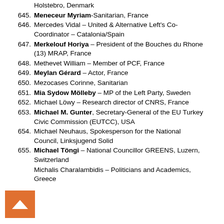Holstebro, Denmark
645. Meneceur Myriam-Sanitarian, France
646. Mercedes Vidal – United & Alternative Left's Co-Coordinator – Catalonia/Spain
647. Merkelouf Horiya – President of the Bouches du Rhone (13) MRAP, France
648. Methevet William – Member of PCF, France
649. Meylan Gérard – Actor, France
650. Mezocases Corinne, Sanitarian
651. Mia Sydow Mölleby – MP of the Left Party, Sweden
652. Michael Löwy – Research director of CNRS, France
653. Michael M. Gunter, Secretary-General of the EU Turkey Civic Commission (EUTCC), USA
654. Michael Neuhaus, Spokesperson for the National Council, Linksjugend Solid
655. Michael Töngi – National Councillor GREENS, Luzern, Switzerland
Michalis Charalambidis – Politicians and Academics, Greece